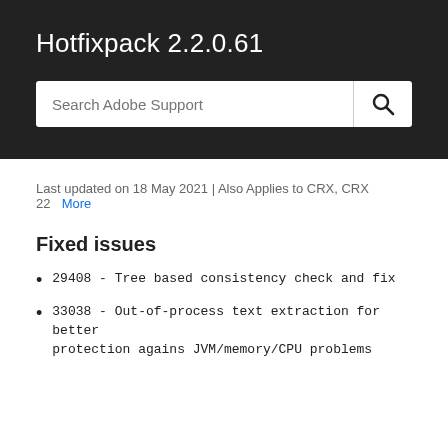Hotfixpack 2.2.0.61
Last updated on 18 May 2021 | Also Applies to CRX, CRX 22  More
Fixed issues
29408 - Tree based consistency check and fix
33038 - Out-of-process text extraction for better protection agains JVM/memory/CPU problems